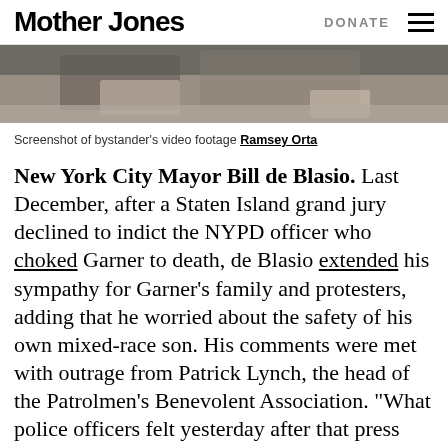Mother Jones  DONATE
[Figure (photo): Screenshot of a person lying on the ground, appears to be bystander video footage]
Screenshot of bystander's video footage Ramsey Orta
New York City Mayor Bill de Blasio. Last December, after a Staten Island grand jury declined to indict the NYPD officer who choked Garner to death, de Blasio extended his sympathy for Garner's family and protesters, adding that he worried about the safety of his own mixed-race son. His comments were met with outrage from Patrick Lynch, the head of the Patrolmen's Benevolent Association. "What police officers felt yesterday after that press conference is that they were thrown under the bus..."